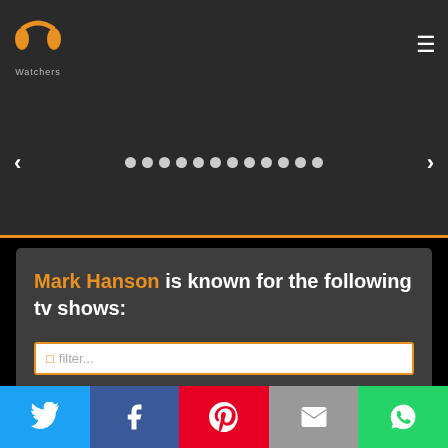PP Watchers logo and navigation
[Figure (screenshot): Carousel navigation with left/right arrows and 12 dots]
Mark Hanson is known for the following tv shows:
filter...
Social share buttons: Twitter, Facebook, Pinterest, Email, WhatsApp